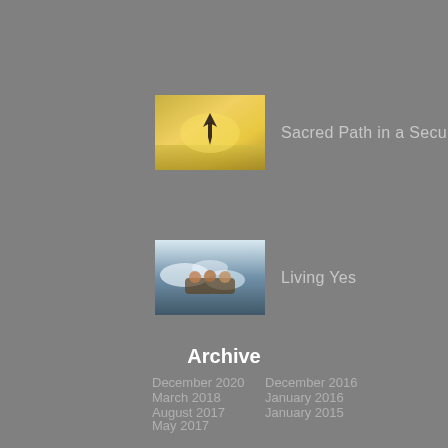[Figure (photo): Thumbnail photo of a person with arms outstretched in a field with golden light]
Sacred Path in a Secular World
[Figure (photo): Thumbnail photo of people white water rafting in rapids]
Living Yes
Archive
December 2020
March 2018
August 2017
May 2017
December 2016
January 2016
January 2015